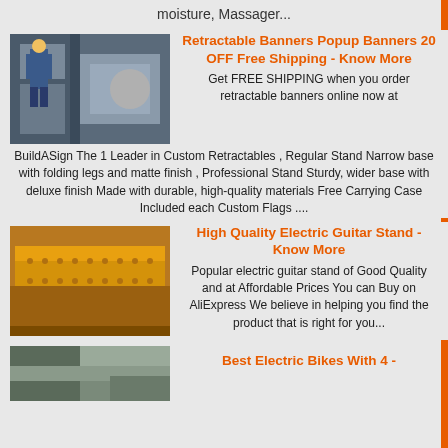moisture, Massager...
[Figure (photo): Industrial machinery with worker in blue jumpsuit and yellow hard hat]
Retractable Banners Popup Banners 20 OFF Free Shipping - Know More
Get FREE SHIPPING when you order retractable banners online now at BuildASign The 1 Leader in Custom Retractables , Regular Stand Narrow base with folding legs and matte finish , Professional Stand Sturdy, wider base with deluxe finish Made with durable, high-quality materials Free Carrying Case Included each Custom Flags ....
[Figure (photo): Yellow industrial metal trough or vibrating feeder equipment]
High Quality Electric Guitar Stand - Know More
Popular electric guitar stand of Good Quality and at Affordable Prices You can Buy on AliExpress We believe in helping you find the product that is right for you...
[Figure (photo): Partial view of electric bike or machinery component]
Best Electric Bikes With 4 -